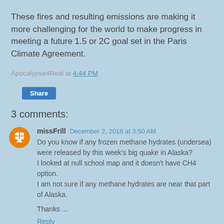These fires and resulting emissions are making it more challenging for the world to make progress in meeting a future 1.5 or 2C goal set in the Paris Climate Agreement.
Apocalypse4Real at 4:44 PM
Share
3 comments:
missFrill December 2, 2018 at 3:50 AM
Do you know if any frozen methane hydrates (undersea) were released by this week's big quake in Alaska?
I looked at null school map and it doesn't have CH4 option.
I am not sure if any methane hydrates are near that part of Alaska.

Thanks ...
Reply